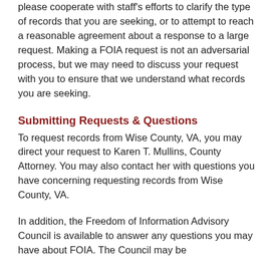please cooperate with staff's efforts to clarify the type of records that you are seeking, or to attempt to reach a reasonable agreement about a response to a large request. Making a FOIA request is not an adversarial process, but we may need to discuss your request with you to ensure that we understand what records you are seeking.
Submitting Requests & Questions
To request records from Wise County, VA, you may direct your request to Karen T. Mullins, County Attorney. You may also contact her with questions you have concerning requesting records from Wise County, VA.
In addition, the Freedom of Information Advisory Council is available to answer any questions you may have about FOIA. The Council may be